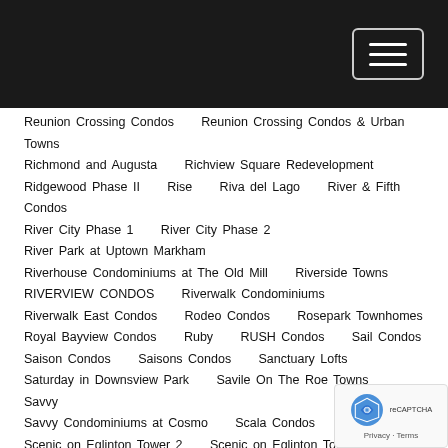Navigation header bar with menu button
Reunion Crossing Condos
Reunion Crossing Condos & Urban Towns
Richmond and Augusta
Richview Square Redevelopment
Ridgewood Phase II
Rise
Riva del Lago
River & Fifth Condos
River City Phase 1
River City Phase 2
River Park at Uptown Markham
Riverhouse Condominiums at The Old Mill
Riverside Towns
RIVERVIEW CONDOS
Riverwalk Condominiums
Riverwalk East Condos
Rodeo Condos
Rosepark Townhomes
Royal Bayview Condos
Ruby
RUSH Condos
Sail Condos
Saison Condos
Saisons Condos
Sanctuary Lofts
Saturday in Downsview Park
Savile On The Roe Towns
Savvy
Savvy Condominiums at Cosmo
Scala Condos
Scenic on Eglinton Tower 2
Scenic on Eglinton Tower 3
Scenic Trails Condos
Schoolhouse
Scoop Condos 2
Scout Condos
Seasons Condos Phase 2
Seasons Upper House
SF3 Condominiums
SF3 Condos
Shangri La
Sheppard Garden
Sherway Gardens Redevelopment
Showcase Lofts
Simcoe Garden
Sincerely Acorn
Six 50 King West
Six 99 Condos
Sixty Colborne Condos
Sixty-Five Broadway Condos
SkyCity
SkyTower Pinnacle One Yonge
Smart House
Social Condos
Society145 Condos
Sonic Condos
Sonoma Urban Towns